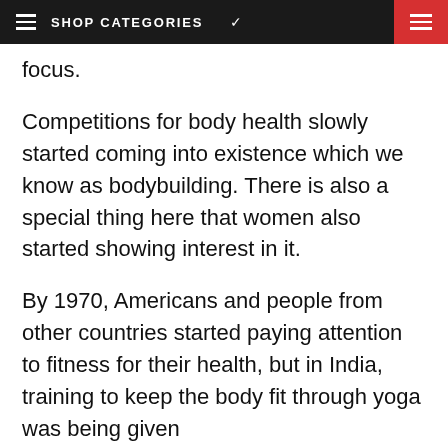≡ SHOP CATEGORIES ∨ [hamburger menu red]
focus.
Competitions for body health slowly started coming into existence which we know as bodybuilding. There is also a special thing here that women also started showing interest in it.
By 1970, Americans and people from other countries started paying attention to fitness for their health, but in India, training to keep the body fit through yoga was being given